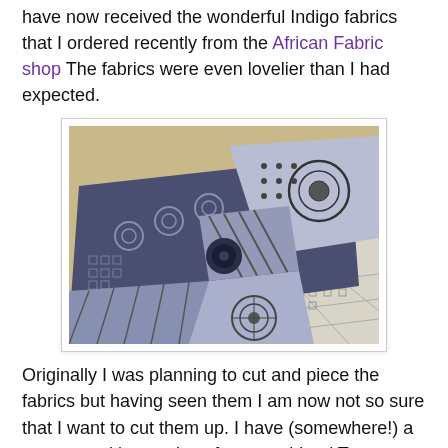have now received the wonderful Indigo fabrics that I ordered recently from the African Fabric shop The fabrics were even lovelier than I had expected.
[Figure (photo): Photograph of folded indigo-dyed African fabric pieces with black and white geometric and circular patterns, arranged in a pile on a light wooden or beige surface.]
Originally I was planning to cut and piece the fabrics but having seen them I am now not so sure that I want to cut them up. I have (somewhere!) a pattern and instructions for a machined Trapunto cushion and I am now thinking that that might be better, as you will get the benefit of the full design. Having never attempted Trapunto before, I might be biting off more than I can chew though! As ever, all advice gratefully